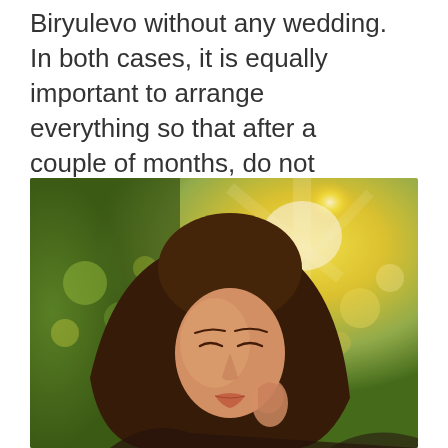Biryulevo without any wedding. In both cases, it is equally important to arrange everything so that after a couple of months, do not scratch each other's eyes on who is sitting in front of the TV on the left side of the sofa.
[Figure (photo): A young woman with long dark hair looking downward, photographed outdoors with a warm golden bokeh background of sunlight through trees.]